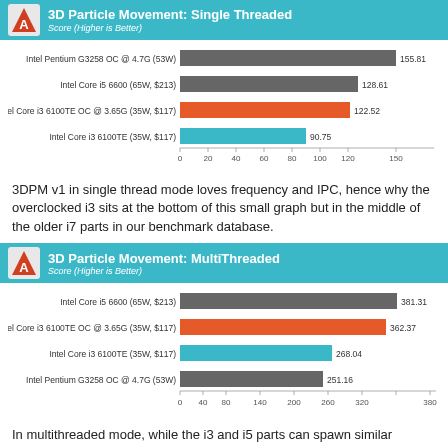[Figure (bar-chart): 3D Particle Movement: Single Threaded]
3DPM v1 in single thread mode loves frequency and IPC, hence why the overclocked i3 sits at the bottom of this small graph but in the middle of the older i7 parts in our benchmark database.
[Figure (bar-chart): 3D Particle Movement: MultiThreaded]
In multithreaded mode, while the i3 and i5 parts can spawn similar amounts of threads, the 3.6 GHz overclock on the i3-6100TE isn't enough to bring the fight to the Core i5s.
WebXPRT